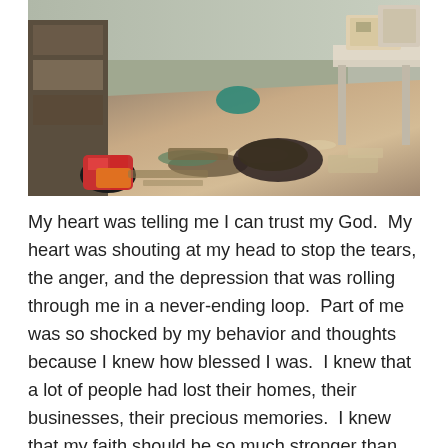[Figure (photo): A flooded or extremely cluttered room interior with items scattered across the floor, bags, boxes, and debris visible. A table is on the right side, wooden furniture on the left.]
My heart was telling me I can trust my God.  My heart was shouting at my head to stop the tears, the anger, and the depression that was rolling through me in a never-ending loop.  Part of me was so shocked by my behavior and thoughts because I knew how blessed I was.  I knew that a lot of people had lost their homes, their businesses, their precious memories.  I knew that my faith should be so much stronger than what my actions said.  I was in utter conflict to my core.  No, I did not blame God at all.  No, my depression and devastation were coming